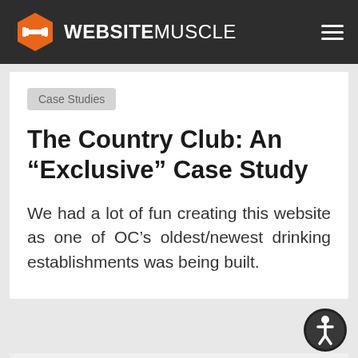WEBSITEMUSCLE
Case Studies
The Country Club: An “Exclusive” Case Study
We had a lot of fun creating this website as one of OC’s oldest/newest drinking establishments was being built.